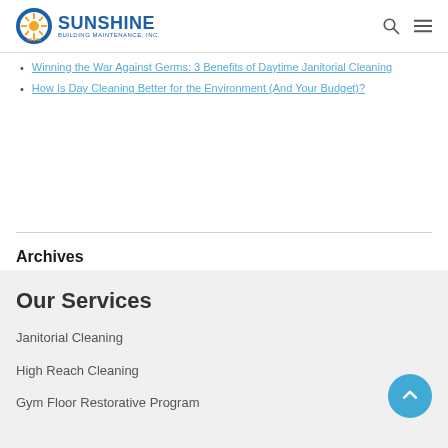Sunshine Building Maintenance, Inc.
Winning the War Against Germs: 3 Benefits of Daytime Janitorial Cleaning
How Is Day Cleaning Better for the Environment (And Your Budget)?
Archives
Select Month
Our Services
Janitorial Cleaning
High Reach Cleaning
Gym Floor Restorative Program